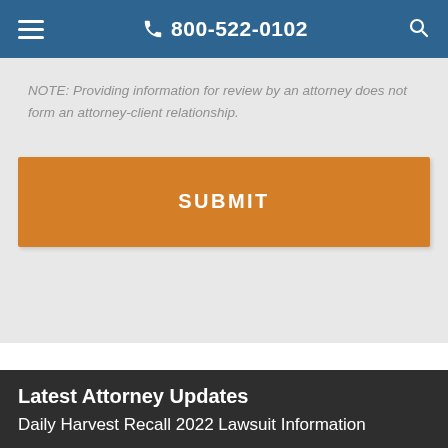800-522-0102
NOTE: Providing information for review by an attorney does not form an attorney-client relationship.
[Figure (screenshot): Orange SUBMIT button on a light gray form background]
Latest Attorney Updates
Daily Harvest Recall 2022 Lawsuit Information